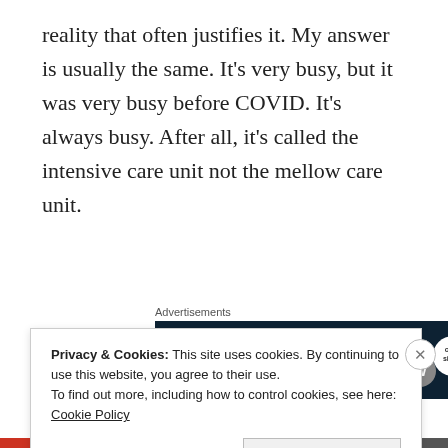reality that often justifies it. My answer is usually the same. It’s very busy, but it was very busy before COVID. It’s always busy. After all, it’s called the intensive care unit not the mellow care unit.
[Figure (screenshot): Advertisement banner for crowdsignal: 'Create surveys, polls, quizzes, and forms.' on dark navy background with WordPress and CrowdSignal logos]
It’s important for people to understand that
Privacy & Cookies: This site uses cookies. By continuing to use this website, you agree to their use.
To find out more, including how to control cookies, see here: Cookie Policy
Close and accept